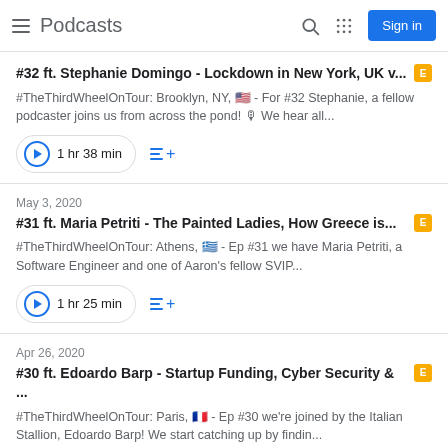Podcasts
#32 ft. Stephanie Domingo - Lockdown in New York, UK v... [E]
#TheThirdWheelOnTour: Brooklyn, NY, 🇺🇸 - For #32 Stephanie, a fellow podcaster joins us from across the pond! 🎙 We hear all...
1 hr 38 min
May 3, 2020
#31 ft. Maria Petriti - The Painted Ladies, How Greece is... [E]
#TheThirdWheelOnTour: Athens, 🇬🇷 - Ep #31 we have Maria Petriti, a Software Engineer and one of Aaron's fellow SVIP...
1 hr 25 min
Apr 26, 2020
#30 ft. Edoardo Barp - Startup Funding, Cyber Security & ... [E]
#TheThirdWheelOnTour: Paris, 🇫🇷 - Ep #30 we're joined by the Italian Stallion, Edoardo Barp! We start catching up by findin...